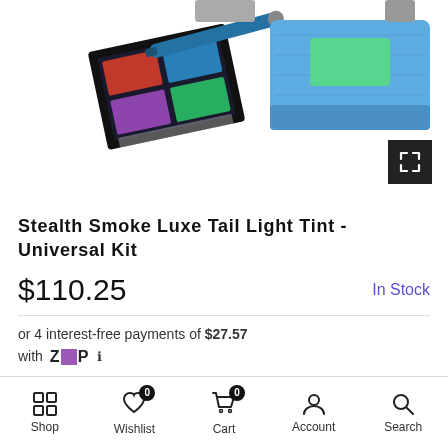[Figure (photo): Product photo showing a Stealth Smoke Luxe Tail Light Tint Universal Kit with a dark instruction card, blue squeegee tool, and a blue microfiber cloth with a green applicator card]
Stealth Smoke Luxe Tail Light Tint - Universal Kit
$110.25  In Stock
or 4 interest-free payments of $27.57 with ZIP ℹ
Tax included. Shipping calculated at checkout.
Shop  Wishlist 0  Cart 0  Account  Search